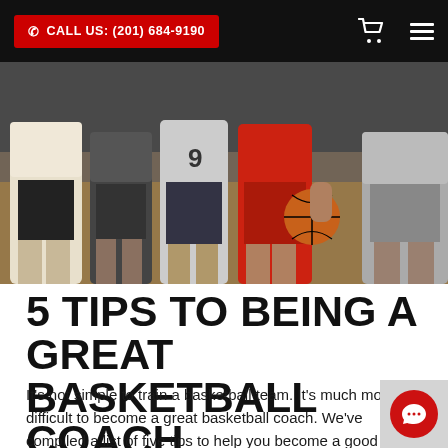CALL US: (201) 684-9190
[Figure (photo): Basketball players standing in a gymnasium; one player in red shirt holds a basketball, others wearing numbered jerseys visible from torso down]
5 TIPS TO BEING A GREAT BASKETBALL COACH
It's not simple to train a basketball team. It's much more difficult to become a great basketball coach. We've compiled a list of five tips to help you become a good basketball coach. Positive mental attitude: It is your responsibility as a trainer to